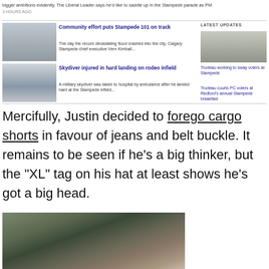bigger ambitions evidently. The Liberal Leader says he'd like to saddle up in the Stampede parade as PM.
3 HOURS AGO
[Figure (screenshot): News thumbnail of Stampede fairground scene]
Community effort puts Stampede 101 on track
The day the record devastating flood crashed into the city, Calgary Stampede chief executive Vern Kimball...
[Figure (screenshot): News thumbnail of skydiver scene]
Skydiver injured in hard landing on rodeo infield
A military skydiver was taken to hospital by ambulance after he landed hard at the Stampede infield...
LATEST UPDATES
[Figure (photo): Small thumbnail photo for latest updates]
Trudeau working to sway voters at Stampede
Trudeau courts PC voters at Redford's annual Stampede breakfast
Mercifully, Justin decided to forego cargo shorts in favour of jeans and belt buckle. It remains to be seen if he's a big thinker, but the “XL” tag on his hat at least shows he’s got a big head.
[Figure (photo): Photo of Justin Trudeau adjusting a white cowboy hat, wearing a striped shirt, outdoors with greenery in background]